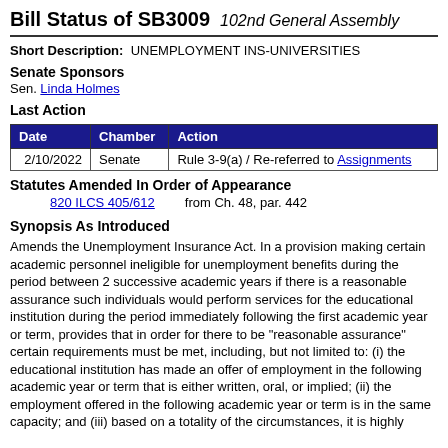Bill Status of SB3009 102nd General Assembly
Short Description:
UNEMPLOYMENT INS-UNIVERSITIES
Senate Sponsors
Sen. Linda Holmes
Last Action
| Date | Chamber | Action |
| --- | --- | --- |
| 2/10/2022 | Senate | Rule 3-9(a) / Re-referred to Assignments |
Statutes Amended In Order of Appearance
820 ILCS 405/612    from Ch. 48, par. 442
Synopsis As Introduced
Amends the Unemployment Insurance Act. In a provision making certain academic personnel ineligible for unemployment benefits during the period between 2 successive academic years if there is a reasonable assurance such individuals would perform services for the educational institution during the period immediately following the first academic year or term, provides that in order for there to be "reasonable assurance" certain requirements must be met, including, but not limited to: (i) the educational institution has made an offer of employment in the following academic year or term that is either written, oral, or implied; (ii) the employment offered in the following academic year or term is in the same capacity; and (iii) based on a totality of the circumstances, it is highly